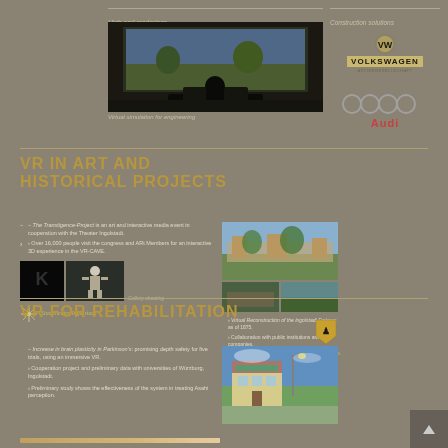[Figure (screenshot): Virtual reality simulation cockpit view for engineering]
High-end renderings
Construction solutions
Virtual simulation for engineering
[Figure (logo): Volkswagen logo]
[Figure (logo): Audi logo with four rings]
VR IN ART AND HISTORICAL PROJECTS
The Transtigence-Project is an art and interactive media event in cooperation with the Theater Ingolstadt.
Over 16,000 people visit the congress and ARt Members for an interactive 3D experience in the VR-CAVE.
[Figure (screenshot): Dark art installation interior screenshot]
[Figure (screenshot): VR figure in virtual environment]
Gallery shooting
[Figure (logo): Stadttheater Ingolstadt logo]
[Figure (screenshot): Virtual reconstruction of Ingolstadt fortress green landscape]
[Figure (screenshot): Historical reconstruction details bottom panels]
Virtual Reconstruction of the Ingolstadt Fortress as of 1875.
Collaboration with public institutions and companies.
[Figure (logo): Stadt Ingolstadt logo]
VR FOR REHABILITATION
Increase in brain plasticity in Parkinson's: promising depth safety for five trials, using an immersive VR.
Cooperation project and preliminary data with universities of Würzburg, Ingolstadt.
Preliminary study shows the effectiveness of the system in treating Asahi perception.
[Figure (screenshot): VR rehabilitation environment with outdoor scene]